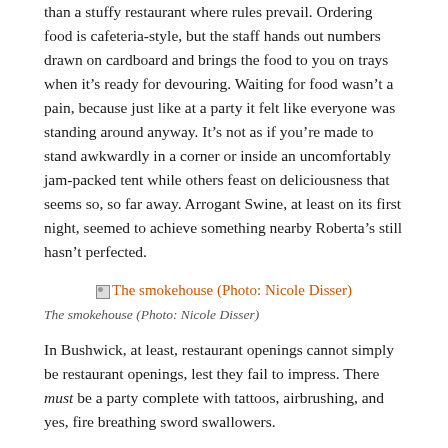than a stuffy restaurant where rules prevail. Ordering food is cafeteria-style, but the staff hands out numbers drawn on cardboard and brings the food to you on trays when it's ready for devouring. Waiting for food wasn't a pain, because just like at a party it felt like everyone was standing around anyway. It's not as if you're made to stand awkwardly in a corner or inside an uncomfortably jam-packed tent while others feast on deliciousness that seems so, so far away. Arrogant Swine, at least on its first night, seemed to achieve something nearby Roberta's still hasn't perfected.
[Figure (photo): The smokehouse (Photo: Nicole Disser) — linked image placeholder]
The smokehouse (Photo: Nicole Disser)
In Bushwick, at least, restaurant openings cannot simply be restaurant openings, lest they fail to impress. There must be a party complete with tattoos, airbrushing, and yes, fire breathing sword swallowers.
[Figure (photo): People eat this stuff up. (Photo: Nicole Disser) — linked image placeholder]